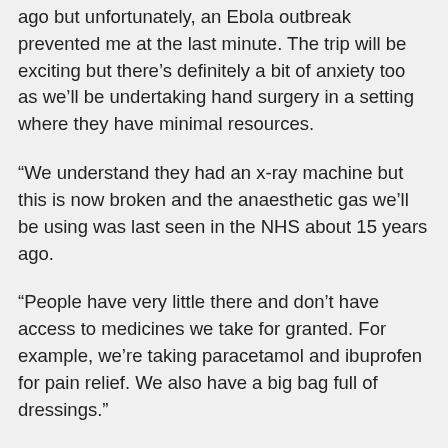ago but unfortunately, an Ebola outbreak prevented me at the last minute. The trip will be exciting but there's definitely a bit of anxiety too as we'll be undertaking hand surgery in a setting where they have minimal resources.
“We understand they had an x-ray machine but this is now broken and the anaesthetic gas we’ll be using was last seen in the NHS about 15 years ago.
“People have very little there and don’t have access to medicines we take for granted. For example, we’re taking paracetamol and ibuprofen for pain relief. We also have a big bag full of dressings.”
Zakir, who has had experience working in camps in India as a volunteer surgeon, revealed that support for the trip had been amazing with